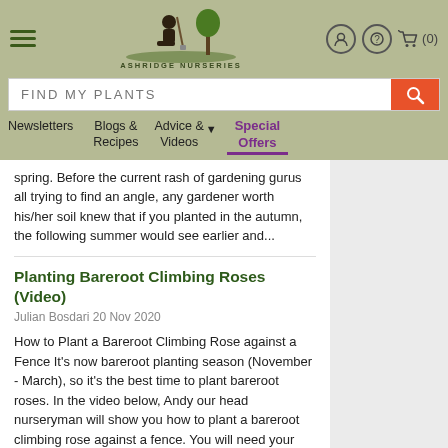Ashridge Nurseries — Navigation header with logo, search bar, and menu
spring. Before the current rash of gardening gurus all trying to find an angle, any gardener worth his/her soil knew that if you planted in the autumn, the following summer would see earlier and...
Planting Bareroot Climbing Roses (Video)
Julian Bosdari 20 Nov 2020
How to Plant a Bareroot Climbing Rose against a Fence It's now bareroot planting season (November - March), so it's the best time to plant bareroot roses. In the video below, Andy our head nurseryman will show you how to plant a bareroot climbing rose against a fence. You will need your bareroo...
Planting Bare Rooted Plants